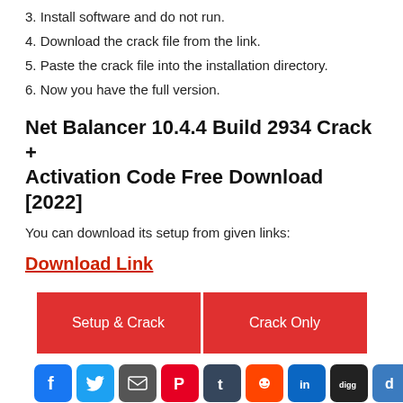3. Install software and do not run.
4. Download the crack file from the link.
5. Paste the crack file into the installation directory.
6. Now you have the full version.
Net Balancer 10.4.4 Build 2934 Crack + Activation Code Free Download [2022]
You can download its setup from given links:
Download Link
[Figure (infographic): Two red buttons side by side: 'Setup & Crack' and 'Crack Only']
[Figure (infographic): Row of social media share icons: Facebook, Twitter, Email, Pinterest, Tumblr, Reddit, LinkedIn, Digg, Delicious, Flipboard]